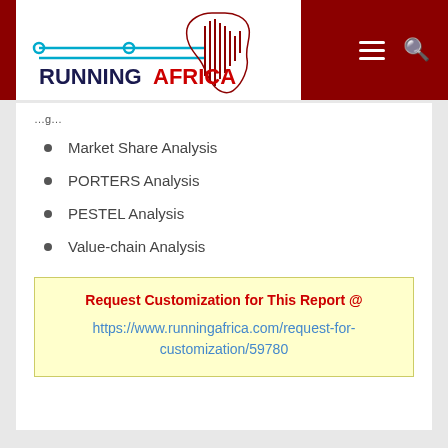Running Africa
Market Share Analysis
PORTERS Analysis
PESTEL Analysis
Value-chain Analysis
Request Customization for This Report @ https://www.runningafrica.com/request-for-customization/59780